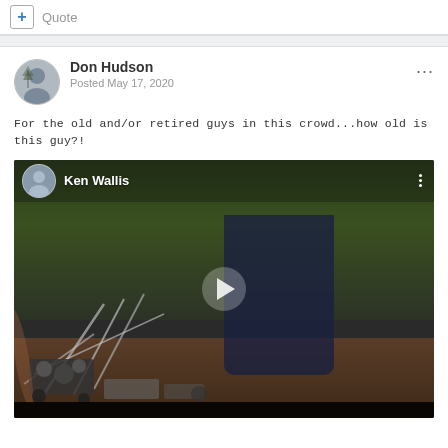+ Quote
Don Hudson
Posted May 17, 2020
For the old and/or retired guys in this crowd...how old is this guy?!
[Figure (screenshot): Video thumbnail showing an older man standing next to autogyro machinery outdoors, with 'Ken Wallis' overlay and profile picture at top, and a play button in the center.]